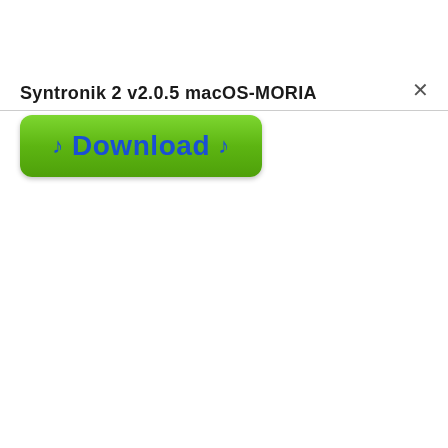Syntronik 2 v2.0.5 macOS-MORIA
[Figure (screenshot): Green download button with musical note symbols and blue bold 'Download' text on a green gradient rounded rectangle button]
♪ Download ♪